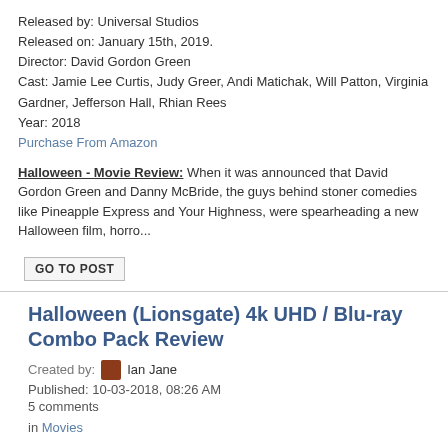Released by: Universal Studios
Released on: January 15th, 2019.
Director: David Gordon Green
Cast: Jamie Lee Curtis, Judy Greer, Andi Matichak, Will Patton, Virginia Gardner, Jefferson Hall, Rhian Rees
Year: 2018
Purchase From Amazon
Halloween - Movie Review: When it was announced that David Gordon Green and Danny McBride, the guys behind stoner comedies like Pineapple Express and Your Highness, were spearheading a new Halloween film, horro...
GO TO POST
Halloween (Lionsgate) 4k UHD / Blu-ray Combo Pack Review
Created by: Ian Jane
Published: 10-03-2018, 08:26 AM
5 comments
in Movies
Released by: Lionsgate
Released on: September 25th, 2018